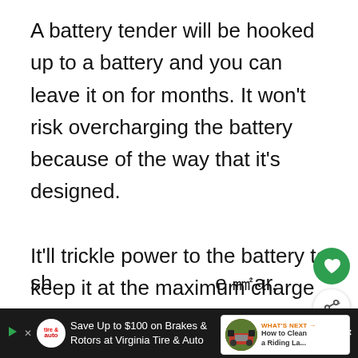A battery tender will be hooked up to a battery and you can leave it on for months. It won't risk overcharging the battery because of the way that it's designed.

It'll trickle power to the battery to keep it at the maximum charge without exceeding the limit. This is a ha[ndsfree way] to keep your riding mower battery in good sh[ape all year].
[Figure (screenshot): UI overlay with green heart/save button and white share button]
[Figure (infographic): What's Next widget showing thumbnail of riding lawn mower with label 'WHAT'S NEXT → How to Clean a Riding La...']
[Figure (screenshot): Advertisement banner at bottom: dark background, Tire & Auto logo, 'Save Up to $100 on Brakes & Rotors at Virginia Tire & Auto', blue arrow button, mute/volume icon]